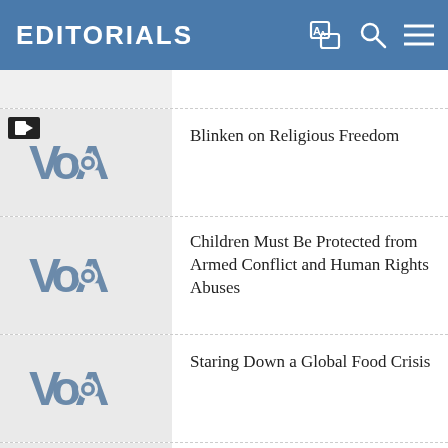EDITORIALS
Blinken on Religious Freedom
Children Must Be Protected from Armed Conflict and Human Rights Abuses
Staring Down a Global Food Crisis
Russia's Inhumane Priority in Syria